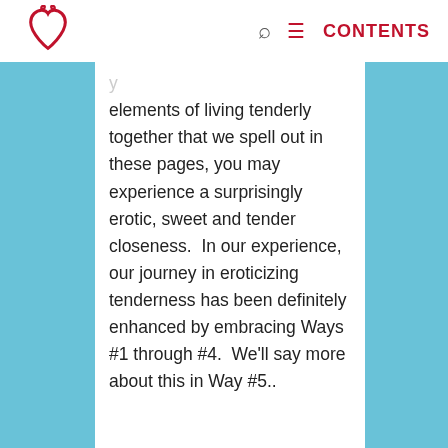CONTENTS
elements of living tenderly together that we spell out in these pages, you may experience a surprisingly erotic, sweet and tender closeness.  In our experience, our journey in eroticizing tenderness has been definitely enhanced by embracing Ways #1 through #4.  We’ll say more about this in Way #5..